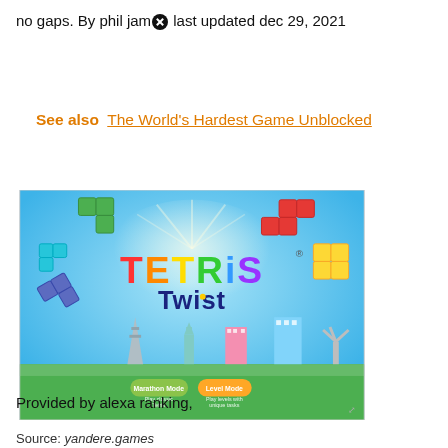no gaps. By phil jamⓧ last updated dec 29, 2021
See also  The World's Hardest Game Unblocked
[Figure (screenshot): Tetris Twist game screenshot showing the title screen with colorful Tetris blocks floating in a blue sky background, two green/orange buttons labeled 'Marathon Mode' and 'Level Mode', and a stylized cityscape with world landmarks.]
Source: yandere.games
Provided by alexa ranking,